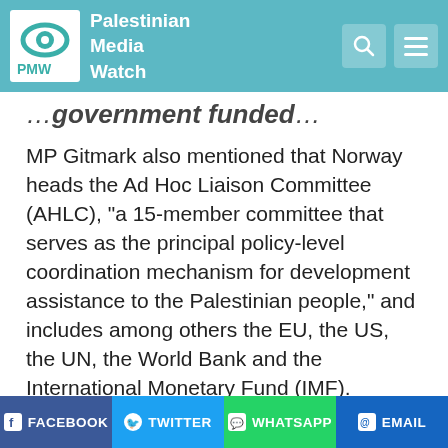Palestinian Media Watch
…government funded…
MP Gitmark also mentioned that Norway heads the Ad Hoc Liaison Committee (AHLC), "a 15-member committee that serves as the principal policy-level coordination mechanism for development assistance to the Palestinian people," and includes among others the EU, the US, the UN, the World Bank and the International Monetary Fund (IMF). Norway must therefore not just readjust its own funding policies, it must demand united action by the entire donor group: "Far more important than the protest, which may be important in itself, is how we follow up on the protest and how we follow up with action. For Norway the single example with
FACEBOOK  TWITTER  WHATSAPP  EMAIL